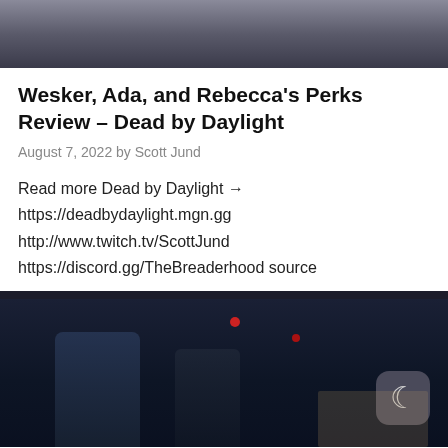[Figure (screenshot): Top portion of a video screenshot showing people in a room, dark tones]
Wesker, Ada, and Rebecca's Perks Review – Dead by Daylight
August 7, 2022 by Scott Jund
Read more Dead by Daylight →
https://deadbydaylight.mgn.gg
http://www.twitch.tv/ScottJund
https://discord.gg/TheBreaderhood source
[Figure (screenshot): Bottom portion of a dark video screenshot showing game or video content with silhouetted figures, a dark mode toggle button in the bottom right corner]